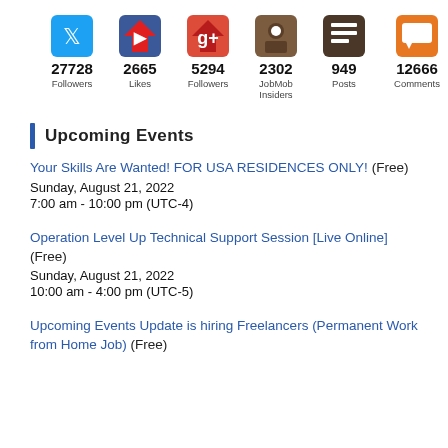[Figure (infographic): Social media stats row showing icons and counts: 27728 Followers, 2665 Likes, 5294 Followers, 2302 JobMob Insiders, 949 Posts, 12666 Comments]
Upcoming Events
Your Skills Are Wanted! FOR USA RESIDENCES ONLY! (Free)
Sunday, August 21, 2022
7:00 am - 10:00 pm (UTC-4)
Operation Level Up Technical Support Session [Live Online] (Free)
Sunday, August 21, 2022
10:00 am - 4:00 pm (UTC-5)
Upcoming Events Update is hiring Freelancers (Permanent Work from Home Job) (Free)